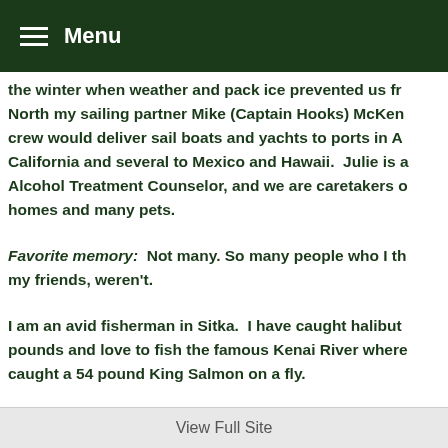Menu
the winter when weather and pack ice prevented us fr... North my sailing partner Mike (Captain Hooks) McKen... crew would deliver sail boats and yachts to ports in A... California and several to Mexico and Hawaii.  Julie is a... Alcohol Treatment Counselor, and we are caretakers o... homes and many pets.
Favorite memory:  Not many. So many people who I th... my friends, weren't.
I am an avid fisherman in Sitka.  I have caught halibut... pounds and love to fish the famous Kenai River where... caught a 54 pound King Salmon on a fly.
View Full Site